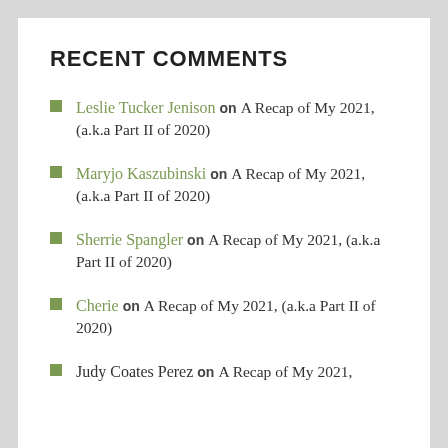RECENT COMMENTS
Leslie Tucker Jenison on A Recap of My 2021, (a.k.a Part II of 2020)
Maryjo Kaszubinski on A Recap of My 2021, (a.k.a Part II of 2020)
Sherrie Spangler on A Recap of My 2021, (a.k.a Part II of 2020)
Cherie on A Recap of My 2021, (a.k.a Part II of 2020)
Judy Coates Perez on A Recap of My 2021,